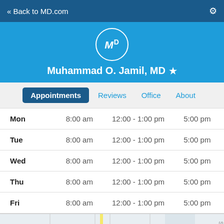« Back to MD.com
[Figure (logo): MD.com logo circle with MD text]
Muhammad O. Jamil, MD ★
Appointments | Reviews | Office | About
| Day | Open | Lunch | Close |
| --- | --- | --- | --- |
| Mon | 8:00 am | 12:00 - 1:00 pm | 5:00 pm |
| Tue | 8:00 am | 12:00 - 1:00 pm | 5:00 pm |
| Wed | 8:00 am | 12:00 - 1:00 pm | 5:00 pm |
| Thu | 8:00 am | 12:00 - 1:00 pm | 5:00 pm |
| Fri | 8:00 am | 12:00 - 1:00 pm | 5:00 pm |
[Figure (map): Partial map view showing Wise Foods location]